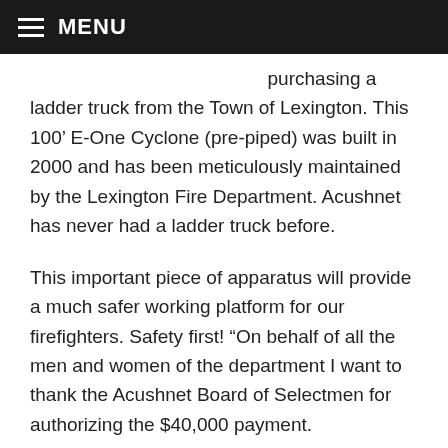MENU
purchasing a ladder truck from the Town of Lexington. This 100’ E-One Cyclone (pre-piped) was built in 2000 and has been meticulously maintained by the Lexington Fire Department. Acushnet has never had a ladder truck before.
This important piece of apparatus will provide a much safer working platform for our firefighters. Safety first! “On behalf of all the men and women of the department I want to thank the Acushnet Board of Selectmen for authorizing the $40,000 payment.
These tax dollars will be reimbursed by revenue collected from insurance companies for EMS